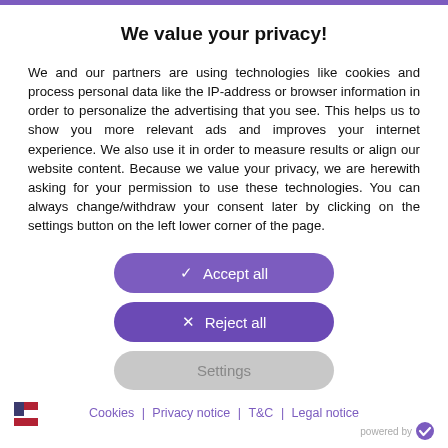We value your privacy!
We and our partners are using technologies like cookies and process personal data like the IP-address or browser information in order to personalize the advertising that you see. This helps us to show you more relevant ads and improves your internet experience. We also use it in order to measure results or align our website content. Because we value your privacy, we are herewith asking for your permission to use these technologies. You can always change/withdraw your consent later by clicking on the settings button on the left lower corner of the page.
✓ Accept all
✕ Reject all
Settings
Cookies | Privacy notice | T&C | Legal notice
powered by